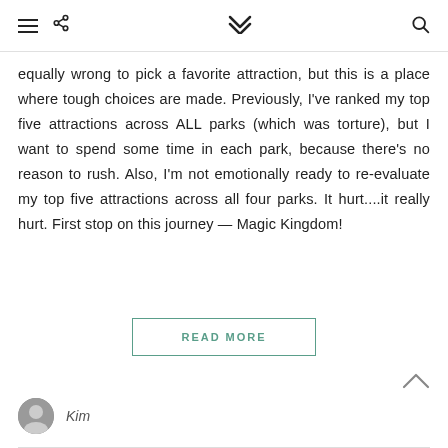≡ < ∨∨ 🔍
equally wrong to pick a favorite attraction, but this is a place where tough choices are made. Previously, I've ranked my top five attractions across ALL parks (which was torture), but I want to spend some time in each park, because there's no reason to rush. Also, I'm not emotionally ready to re-evaluate my top five attractions across all four parks. It hurt....it really hurt. First stop on this journey — Magic Kingdom!
READ MORE
Kim